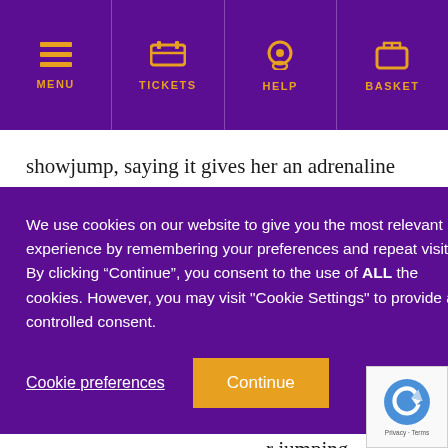MENU | TICKETS | HELP | BASKET
showjump, saying it gives her an adrenaline rush that is a nice change to the show ring. Her own younger
d for the r Series so hough she longside r jumping ng to the nce and issance for
We use cookies on our website to give you the most relevant experience by remembering your preferences and repeat visits. By clicking “Continue”, you consent to the use of ALL the cookies. However, you may visit "Cookie Settings" to provide a controlled consent.
Cookie preferences
Continue
[Figure (logo): Google reCAPTCHA logo with Privacy - Terms text]